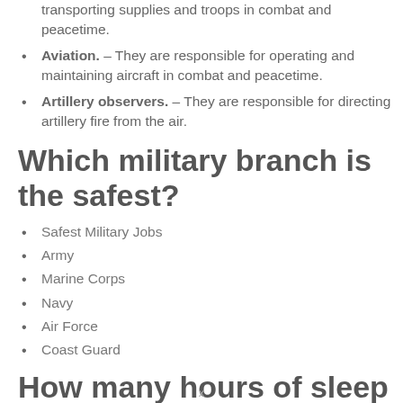transporting supplies and troops in combat and peacetime.
Aviation. – They are responsible for operating and maintaining aircraft in combat and peacetime.
Artillery observers. – They are responsible for directing artillery fire from the air.
Which military branch is the safest?
Safest Military Jobs
Army
Marine Corps
Navy
Air Force
Coast Guard
How many hours of sleep